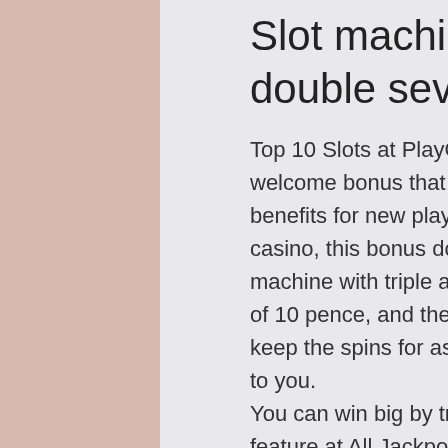Slot machine with triple and double sevens
Top 10 Slots at PlayOJO. PlayOJO Casino offers a unique welcome bonus that may seem small but includes massive benefits for new players. Unlike almost every other online casino, this bonus doesn't have a wagering requirement, slot machine with triple and double sevens. Each spin has a value of 10 pence, and there are no usual time restrictions. You can keep the spins for as long as you want, and all winnings belong to you.
You can win big by triggering the Mayan Princess free spins feature at All Jackpots Casino, slot machine with triple and double sevens.